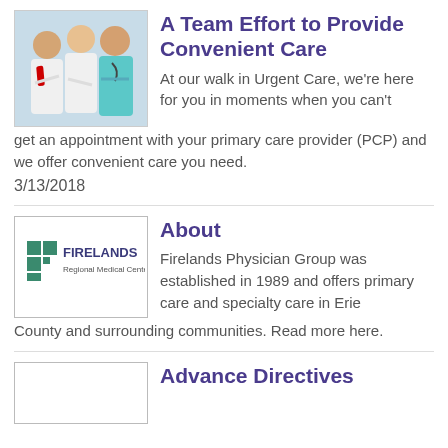[Figure (photo): Photo of three medical professionals in white and teal scrubs, arms crossed, smiling.]
A Team Effort to Provide Convenient Care
At our walk in Urgent Care, we're here for you in moments when you can't get an appointment with your primary care provider (PCP) and we offer convenient care you need.
3/13/2018
[Figure (logo): Firelands Regional Medical Center logo with teal squares and text.]
About
Firelands Physician Group was established in 1989 and offers primary care and specialty care in Erie County and surrounding communities. Read more here.
[Figure (photo): Image placeholder for Advance Directives section.]
Advance Directives